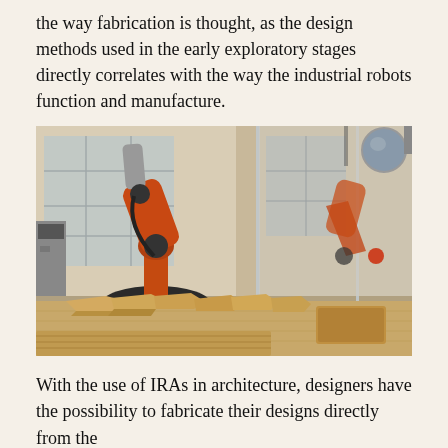the way fabrication is thought, as the design methods used in the early exploratory stages directly correlates with the way the industrial robots function and manufacture.
[Figure (photo): An orange industrial robotic arm in a fabrication lab, with wooden milled pieces on a table in the foreground. A glass partition reflects a second robotic arm on the right side. A spherical safety mirror is mounted in the upper right corner.]
With the use of IRAs in architecture, designers have the possibility to fabricate their designs directly from the